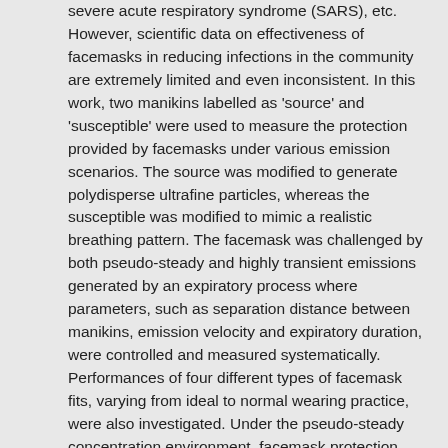severe acute respiratory syndrome (SARS), etc. However, scientific data on effectiveness of facemasks in reducing infections in the community are extremely limited and even inconsistent. In this work, two manikins labelled as 'source' and 'susceptible' were used to measure the protection provided by facemasks under various emission scenarios. The source was modified to generate polydisperse ultrafine particles, whereas the susceptible was modified to mimic a realistic breathing pattern. The facemask was challenged by both pseudo-steady and highly transient emissions generated by an expiratory process where parameters, such as separation distance between manikins, emission velocity and expiratory duration, were controlled and measured systematically. Performances of four different types of facemask fits, varying from ideal to normal wearing practice, were also investigated. Under the pseudo-steady concentration environment, facemask protection was found to be 45 per cent, while under expiratory emissions, protection varied from 33 to 100 per cent. It was also observed that the separation between the source and the manikin was the most influential parameter